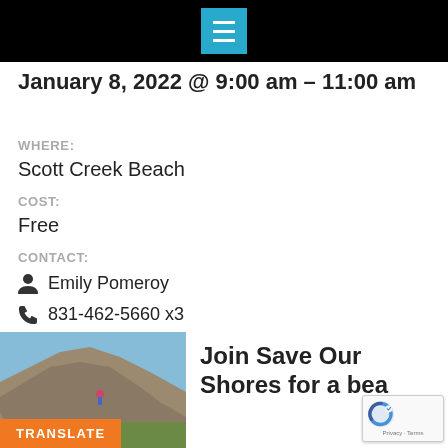Navigation menu
January 8, 2022 @ 9:00 am – 11:00 am
WHERE:
Scott Creek Beach
COST:
Free
CONTACT:
Emily Pomeroy
831-462-5660 x3
Email
BEACH CLEANUP
[Figure (photo): Coastal cliff and beach scene with blue sky]
TRANSLATE
Join Save Our Shores for a bea...